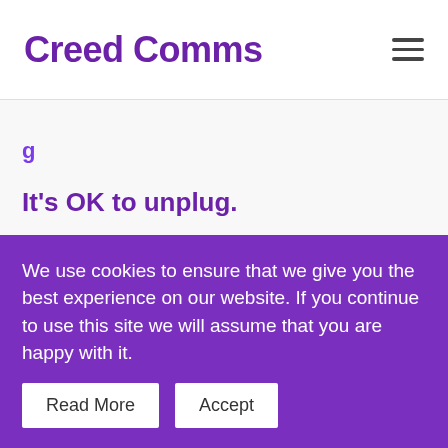Creed Comms
g
It's OK to unplug.
Working remotely often means being set-up at a makeshift office in the corner of a bedroom, pantry, garden shed or wherever you have space. It's easy to never switch-off and check emails at inappropriate
We use cookies to ensure that we give you the best experience on our website. If you continue to use this site we will assume that you are happy with it.